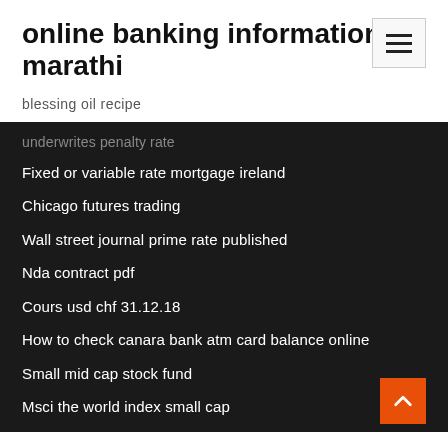online banking information in marathi
blessing oil recipe
Fixed or variable rate mortgage ireland
Chicago futures trading
Wall street journal prime rate published
Nda contract pdf
Cours usd chf 31.12.18
How to check canara bank atm card balance online
Small mid cap stock fund
Msci the world index small cap